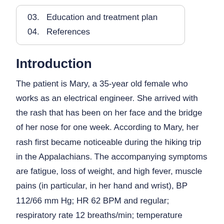03.    Education and treatment plan
04.    References
Introduction
The patient is Mary, a 35-year old female who works as an electrical engineer. She arrived with the rash that has been on her face and the bridge of her nose for one week. According to Mary, her rash first became noticeable during the hiking trip in the Appalachians. The accompanying symptoms are fatigue, loss of weight, and high fever, muscle pains (in particular, in her hand and wrist), BP 112/66 mm Hg; HR 62 BPM and regular; respiratory rate 12 breaths/min; temperature 100.3°F.